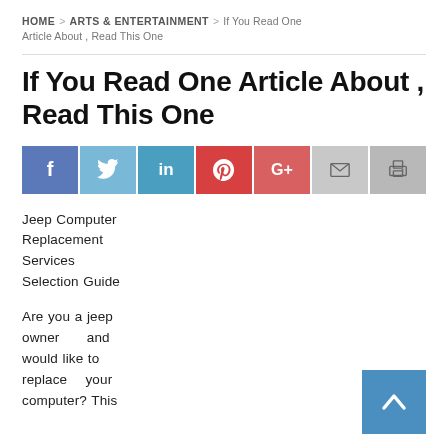HOME > ARTS & ENTERTAINMENT > If You Read One Article About , Read This One
If You Read One Article About , Read This One
[Figure (infographic): Social sharing bar with buttons for Facebook, Twitter, LinkedIn, Pinterest, Google+, Email, and Print]
Jeep Computer Replacement Services Selection Guide
Are you a jeep owner and would like to replace your computer? This